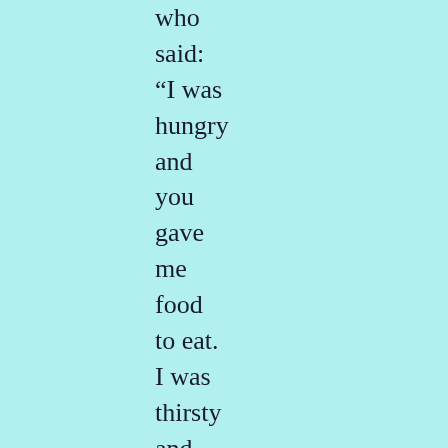who said: “I was hungry and you gave me food to eat. I was thirsty and you gave me a drink. I was a stranger and you welcomed me.  I was